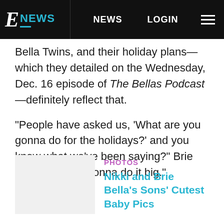E NEWS  NEWS  LOGIN
Bella Twins, and their holiday plans—which they detailed on the Wednesday, Dec. 16 episode of The Bellas Podcast—definitely reflect that.
"People have asked us, 'What are you gonna do for the holidays?' and you know what we've been saying?" Brie began. "We're gonna do it big."
[Figure (photo): Thumbnail placeholder image (light gray box)]
PHOTOS
Nikki and Brie Bella's Sons' Cutest Baby Pics